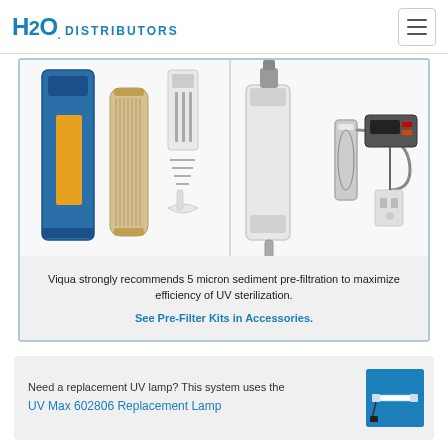H2O DISTRIBUTORS
[Figure (illustration): Water filtration system components: a blue housing filter with yellow cartridge, a pleated sediment filter cartridge, mounting bracket and screws hardware (on the left side), and a UV sterilization system with housing, UV lamp chamber, digital controller and power cord (on the right side).]
Viqua strongly recommends 5 micron sediment pre-filtration to maximize efficiency of UV sterilization. See Pre-Filter Kits in Accessories.
Need a replacement UV lamp? This system uses the UV Max 602806 Replacement Lamp
[Figure (photo): UV lamp replacement product image: a UV lamp shown against a blue background.]